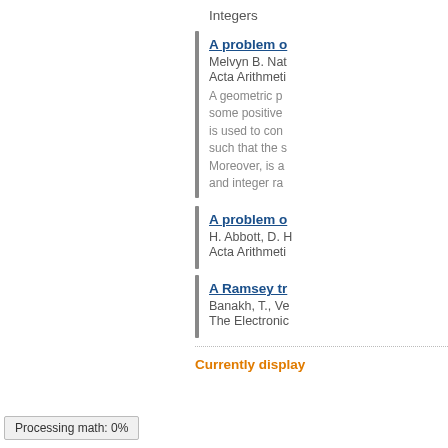Integers
A problem o
Melvyn B. Nat
Acta Arithmeti
A geometric p... some positive... is used to con... such that the s... Moreover, is a... and integer ra...
A problem o
H. Abbott, D. H...
Acta Arithmeti
A Ramsey tr
Banakh, T., Ve...
The Electronic
Currently display
Processing math: 0%